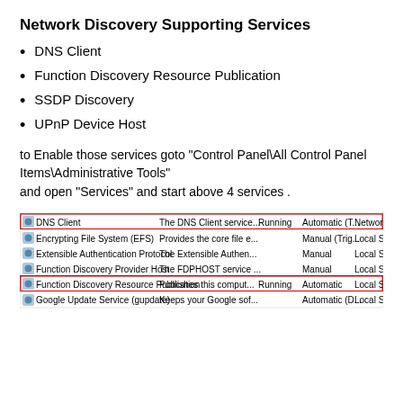Network Discovery Supporting Services
DNS Client
Function Discovery Resource Publication
SSDP Discovery
UPnP Device Host
to Enable those services goto "Control Panel\All Control Panel Items\Administrative Tools"
and open "Services" and start above 4 services .
[Figure (screenshot): Windows Services panel screenshot showing a list of services including DNS Client (highlighted with red border, Running, Automatic (T..., Network S...), Encrypting File System (EFS), Extensible Authentication Protocol, Function Discovery Provider Host, Function Discovery Resource Publication (highlighted with red border, Running, Automatic, Local Service), Google Update Service (gupdate).]